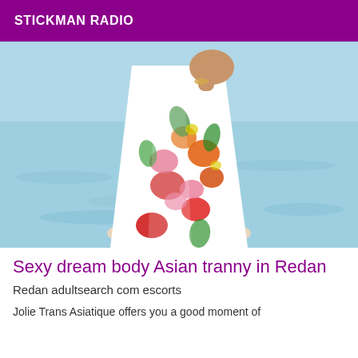STICKMAN RADIO
[Figure (photo): Person wearing a colorful floral maxi dress standing in shallow water at a beach. The dress features red, orange, pink, and green tropical floral patterns. The person's upper torso and face are not visible, only the dress and a hand raised to the shoulder area.]
Sexy dream body Asian tranny in Redan
Redan adultsearch com escorts
Jolie Trans Asiatique offers you a good moment of